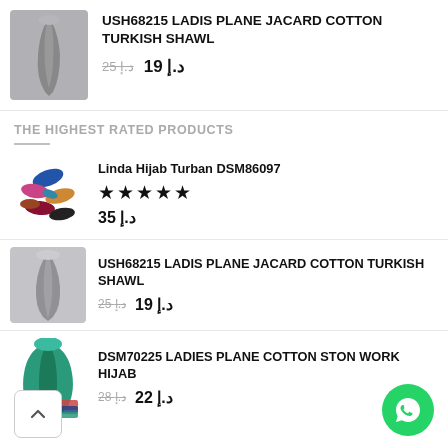[Figure (photo): Grey knitted scarf product image]
USH68215 LADIS PLANE JACARD COTTON TURKISH SHAWL
د.إ 19  د.إ 25
THE HIGHEST RATED PRODUCTS
[Figure (photo): Colorful hijab turban capsules product image]
Linda Hijab Turban DSM86097
★★★★★
د.إ 35
[Figure (photo): Grey scarf product image]
USH68215 LADIS PLANE JACARD COTTON TURKISH SHAWL
د.إ 19  د.إ 25
[Figure (photo): Teal/green hijab product image]
DSM70225 LADIES PLANE COTTON STON WORK HIJAB
د.إ 22  د.إ 28